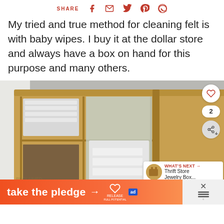SHARE
My tried and true method for cleaning felt is with baby wipes. I buy it at the dollar store and always have a box on hand for this purpose and many others.
[Figure (photo): Open wooden jewelry box or display cabinet showing mirrored interior with shelves, white fabric or tissue paper inside, placed on a wooden surface with a grey fabric background.]
WHAT'S NEXT → Thrift Store Jewelry Box...
take the pledge